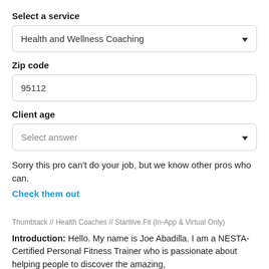Select a service
Health and Wellness Coaching
Zip code
95112
Client age
Select answer
Sorry this pro can't do your job, but we know other pros who can.
Check them out
Thumbtack // Health Coaches // Startlive.Fit (In-App & Virtual Only)
Introduction: Hello. My name is Joe Abadilla. I am a NESTA-Certified Personal Fitness Trainer who is passionate about helping people to discover the amazing,